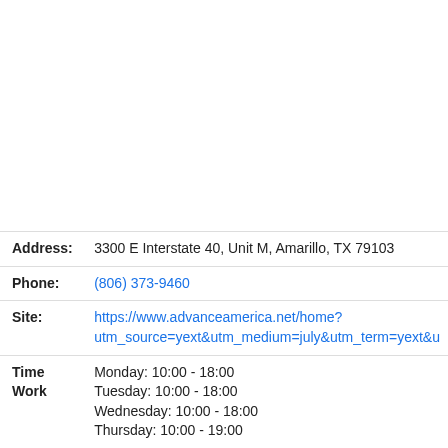| Field | Value |
| --- | --- |
| Address: | 3300 E Interstate 40, Unit M, Amarillo, TX 79103 |
| Phone: | (806) 373-9460 |
| Site: | https://www.advanceamerica.net/home?utm_source=yext&utm_medium=july&utm_term=yext&u |
| Time Work | Monday: 10:00 - 18:00
Tuesday: 10:00 - 18:00
Wednesday: 10:00 - 18:00
Thursday: 10:00 - 19:00 |